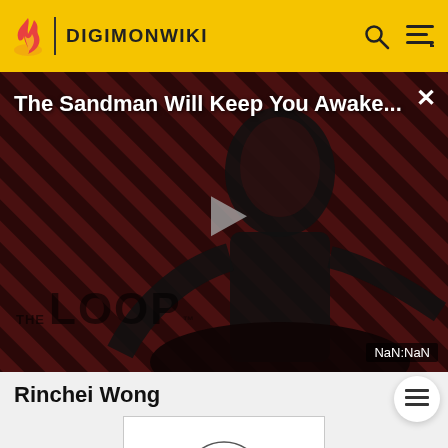DIGIMONWIKI
[Figure (screenshot): Video advertisement overlay showing 'The Sandman Will Keep You Awake...' promo with a dark-cloaked figure, play button in center, THE LOOP branding at bottom, NaN:NaN timer badge, and X close button.]
Rinchei Wong
[Figure (illustration): Line art sketch of Rinchei Wong, a young boy with short hair, large eyes, and a collared shirt, in a white bordered card.]